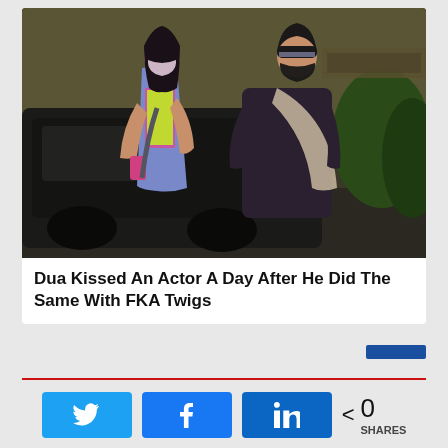[Figure (photo): Two people walking outdoors at night wearing face masks. The woman on the left has dark hair and is wearing a blue vest over a colorful t-shirt, carrying a phone. The man on the right is wearing all dark clothing with a black beanie and mask, carrying a tan sling bag over his shoulder. A large black SUV is visible in the background.]
Dua Kissed An Actor A Day After He Did The Same With FKA Twigs
0 SHARES
[Figure (infographic): Social share buttons: Twitter (blue bird icon), Facebook (blue f icon), LinkedIn (blue in icon), and a share count showing 0 SHARES]